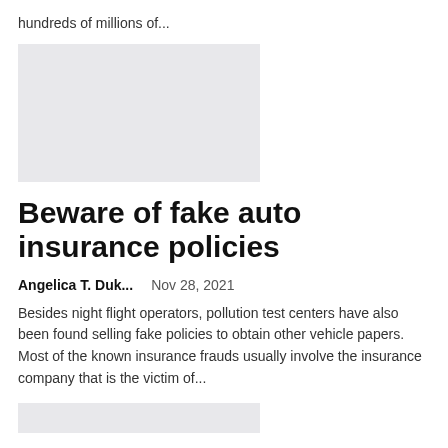hundreds of millions of...
[Figure (photo): Placeholder image (light gray rectangle)]
Beware of fake auto insurance policies
Angelica T. Duk...   Nov 28, 2021
Besides night flight operators, pollution test centers have also been found selling fake policies to obtain other vehicle papers. Most of the known insurance frauds usually involve the insurance company that is the victim of...
[Figure (photo): Placeholder image (light gray rectangle, partial)]